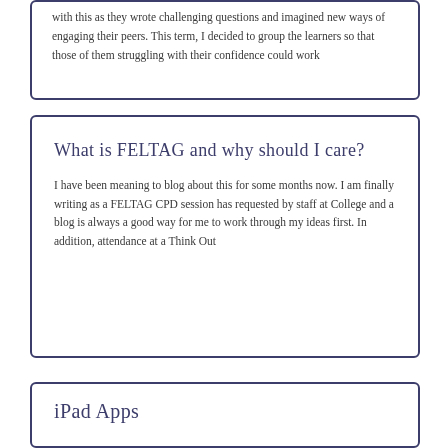with this as they wrote challenging questions and imagined new ways of engaging their peers. This term, I decided to group the learners so that those of them struggling with their confidence could work
What is FELTAG and why should I care?
I have been meaning to blog about this for some months now. I am finally writing as a FELTAG CPD session has requested by staff at College and a blog is always a good way for me to work through my ideas first. In addition, attendance at a Think Out
iPad Apps